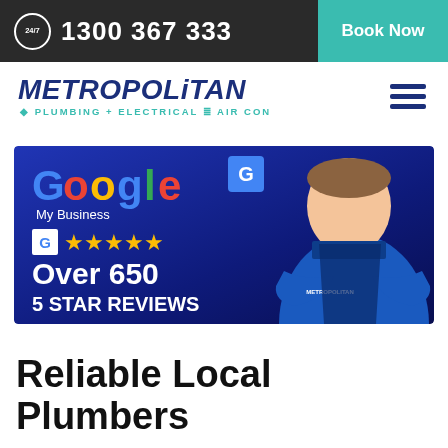24/7  1300 367 333  Book Now
[Figure (logo): Metropolitan Plumbing + Electrical + Air Con logo with teal and dark blue text, italic serif-style font]
[Figure (infographic): Google My Business banner showing Google logo, G icon, 5 gold stars, 'Over 650', '5 STAR REVIEWS' text on dark blue background with a smiling plumber in Metropolitan uniform with arms crossed]
Reliable Local Plumbers